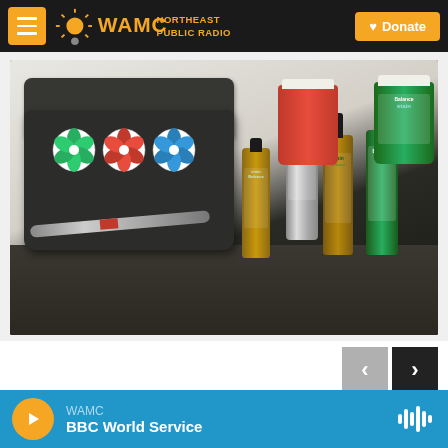[Figure (screenshot): WAMC Northeast Public Radio website screenshot showing a photo of CBD/cannabis products (vape pen case with flower stickers, tincture bottles labeled 'Balance' and 'etain', and spray canisters), navigation arrows, and a radio player bar at the bottom with 'BBC World Service' playing.]